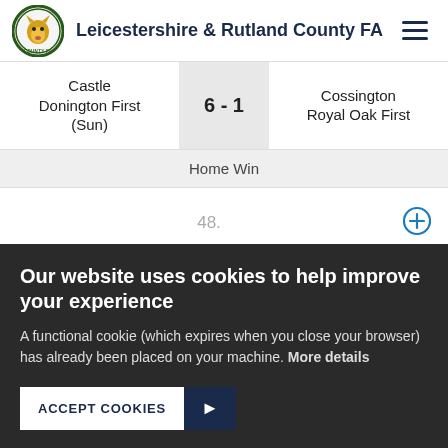Leicestershire & Rutland County FA
| Home | Score | Away |
| --- | --- | --- |
| Castle Donington First (Sun) | 6 - 1 | Cossington Royal Oak First |
| Home Win |  |  |
48.
05/01/20   10:30
Our website uses cookies to help improve your experience
A functional cookie (which expires when you close your browser) has already been placed on your machine. More details
ACCEPT COOKIES